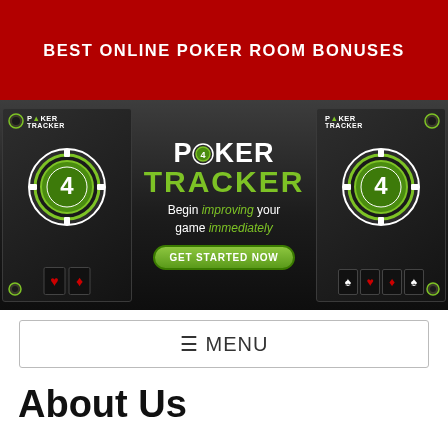BEST ONLINE POKER ROOM BONUSES
[Figure (advertisement): PokerTracker 4 advertisement banner showing two product boxes on sides with a central logo reading POKER TRACKER 4, tagline 'Begin improving your game immediately' and a green GET STARTED NOW button]
≡ MENU
About Us